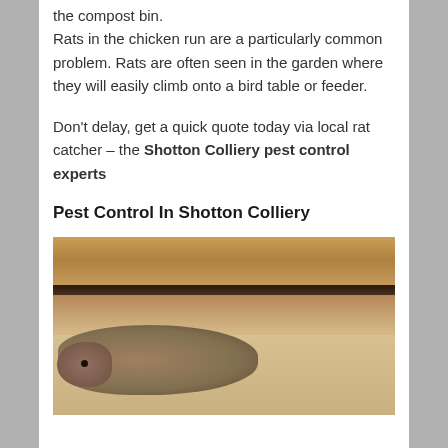the compost bin. Rats in the chicken run are a particularly common problem. Rats are often seen in the garden where they will easily climb onto a bird table or feeder.
Don't delay, get a quick quote today via local rat catcher – the Shotton Colliery pest control experts
Pest Control In Shotton Colliery
[Figure (photo): A brown rat photographed indoors, crawling beneath a kitchen cabinet. The rat is visible against a light floor with wooden cabinetry visible above.]